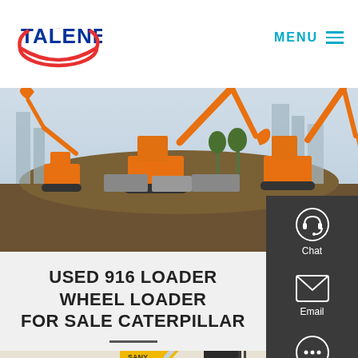TALENET | MENU
[Figure (photo): Construction site with multiple orange excavators operating on a dirt mound, city buildings visible in background]
USED 916 LOADER WHEEL LOADER FOR SALE CATERPILLAR
[Figure (photo): Yellow wheel loader machinery, partial view showing front bucket and cab structure]
[Figure (other): Right sidebar with chat, email, and contact icons on dark gray background]